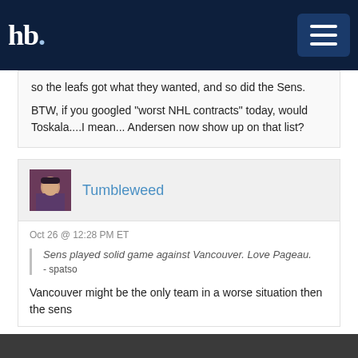hb. [navigation logo and menu button]
so the leafs got what they wanted, and so did the Sens.
BTW, if you googled "worst NHL contracts" today, would Toskala....I mean... Andersen now show up on that list?
Tumbleweed
Oct 26 @ 12:28 PM ET
Sens played solid game against Vancouver. Love Pageau. - spatso
Vancouver might be the only team in a worse situation then the sens